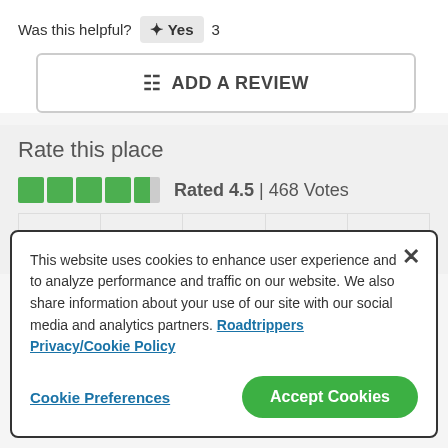Was this helpful? Yes 3
ADD A REVIEW
Rate this place
Rated 4.5 | 468 Votes
1  2  3  4  5
This website uses cookies to enhance user experience and to analyze performance and traffic on our website. We also share information about your use of our site with our social media and analytics partners. Roadtrippers Privacy/Cookie Policy
Cookie Preferences
Accept Cookies